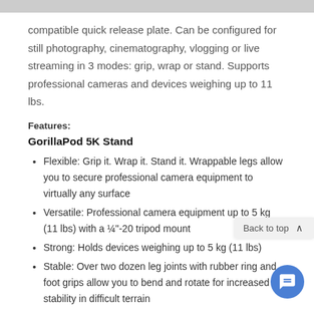compatible quick release plate. Can be configured for still photography, cinematography, vlogging or live streaming in 3 modes: grip, wrap or stand. Supports professional cameras and devices weighing up to 11 lbs.
Features:
GorillaPod 5K Stand
Flexible: Grip it. Wrap it. Stand it. Wrappable legs allow you to secure professional camera equipment to virtually any surface
Versatile: Professional camera equipment up to 5 kg (11 lbs) with a ¼"-20 tripod mount
Strong: Holds devices weighing up to 5 kg (11 lbs)
Stable: Over two dozen leg joints with rubber ring and foot grips allow you to bend and rotate for increased stability in difficult terrain